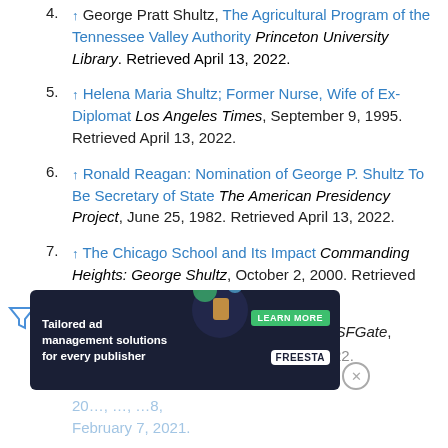4. ↑ George Pratt Shultz, The Agricultural Program of the Tennessee Valley Authority Princeton University Library. Retrieved April 13, 2022.
5. ↑ Helena Maria Shultz; Former Nurse, Wife of Ex-Diplomat Los Angeles Times, September 9, 1995. Retrieved April 13, 2022.
6. ↑ Ronald Reagan: Nomination of George P. Shultz To Be Secretary of State The American Presidency Project, June 25, 1982. Retrieved April 13, 2022.
7. ↑ The Chicago School and Its Impact Commanding Heights: George Shultz, October 2, 2000. Retrieved April 13, 2022.
8. ↑ Trish Donnally, Swig Tames Her Tiger SFGate, August 16, 1997. Retrieved April 13, 2022.
9. ↑ M... Of 20... February 7, 2021.
[Figure (screenshot): Advertisement banner: Tailored ad management solutions for every publisher, Freesta logo, Learn More button, decorative graphic]